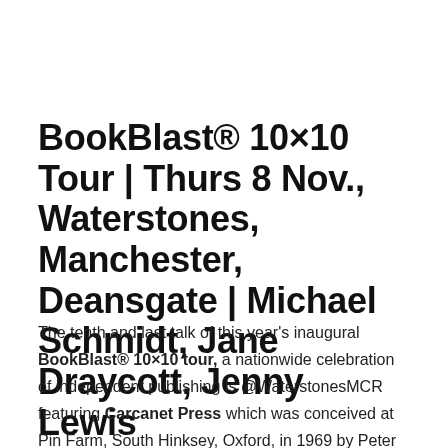BookBlast® 10×10 Tour | Thurs 8 Nov., Waterstones, Manchester, Deansgate | Michael Schmidt, Jane Draycott, Jenny Lewis
The tenth and last talk of this year's inaugural BookBlast® 10×10 tour, a nationwide celebration of independent publishing is @WaterstonesMCR featuring Carcanet Press which was conceived at Pin Farm, South Hinksey, Oxford, in 1969 by Peter Jones, Gareth Reeves and Michael Schmidt. Carcanet Press primarily publishes poetry. In 2000 it was named the Sunday